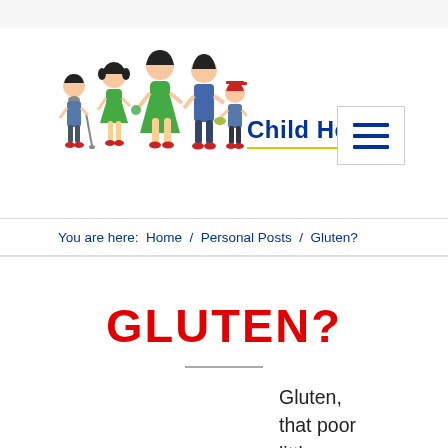Child Health
[Figure (illustration): Cartoon illustration of a family: a young boy with a cane, a girl in green dress, a woman in green dress, a man in blue, and a child with a red cap]
Child Health
You are here:  Home  /  Personal Posts  /  Gluten?
GLUTEN?
Gluten, that poor little nutritious protein